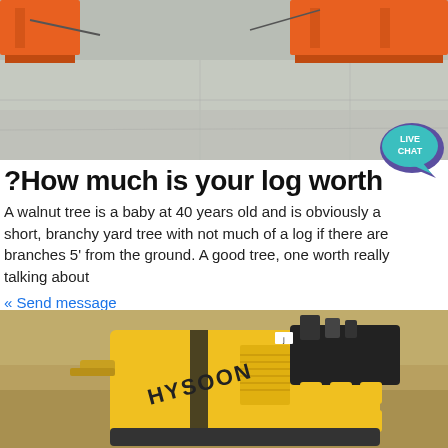[Figure (photo): Industrial construction site with orange metal equipment structures on concrete ground]
[Figure (infographic): Live chat bubble icon in teal/purple color with text LIVE CHAT]
?How much is your log worth
A walnut tree is a baby at 40 years old and is obviously a short, branchy yard tree with not much of a log if there are branches 5' from the ground. A good tree, one worth really talking about
« Send message
[Figure (photo): Yellow and black HYSOON mini skid steer loader on dirt ground]